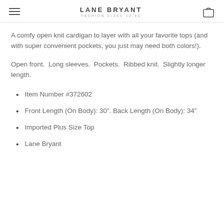LANE BRYANT FASHION SIZES 10-40
A comfy open knit cardigan to layer with all your favorite tops (and with super convenient pockets, you just may need both colors!).
Open front. Long sleeves. Pockets. Ribbed knit. Slightly longer length.
Item Number #372602
Front Length (On Body): 30". Back Length (On Body): 34"
Imported Plus Size Top
Lane Bryant